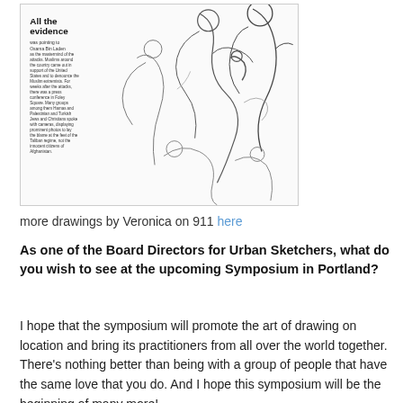[Figure (illustration): A detailed line drawing/sketch showing multiple figures, including people with microphones and instruments. Includes a text overlay in upper left with bold 'All the evidence' heading and small paragraph text. Appears to be a news illustration style sketch.]
more drawings by Veronica on 911 here
As one of the Board Directors for Urban Sketchers, what do you wish to see at the upcoming Symposium in Portland?
I hope that the symposium will promote the art of drawing on location and bring its practitioners from all over the world together. There’s nothing better than being with a group of people that have the same love that you do. And I hope this symposium will be the beginning of many more!